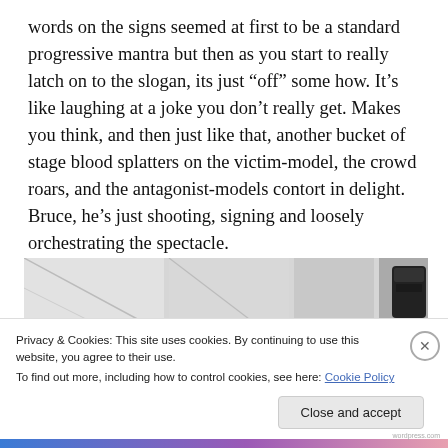words on the signs seemed at first to be a standard progressive mantra but then as you start to really latch on to the slogan, its just “off” some how. It’s like laughing at a joke you don’t really get. Makes you think, and then just like that, another bucket of stage blood splatters on the victim-model, the crowd roars, and the antagonist-models contort in delight. Bruce, he’s just shooting, signing and loosely orchestrating the spectacle.
[Figure (photo): A partial photo showing what appears to be a light-colored interior with geometric shapes and a dark camera or equipment visible at the right edge.]
Privacy & Cookies: This site uses cookies. By continuing to use this website, you agree to their use.
To find out more, including how to control cookies, see here: Cookie Policy